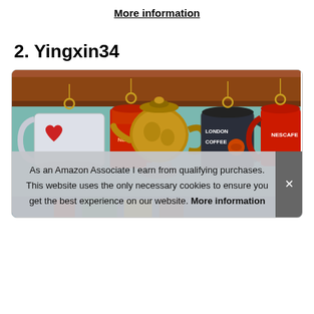More information
2. Yingxin34
[Figure (photo): Colorful painted illustration of coffee mugs and a decorative teapot on a shelf. Mugs include a white mug with a red heart, a red mug, a dark mug labeled 'London Coffee', and a red mug labeled 'Nescafe'. A large ornate copper teapot is in the center.]
As an Amazon Associate I earn from qualifying purchases. This website uses the only necessary cookies to ensure you get the best experience on our website. More information